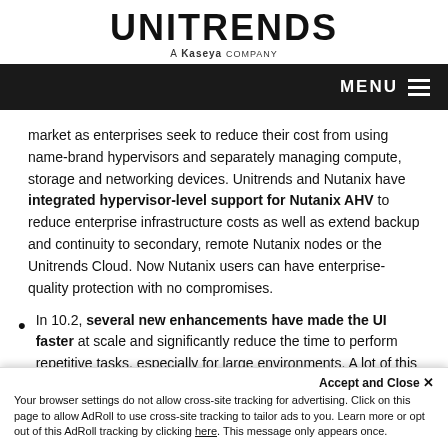UNITRENDS a Kaseya company
market as enterprises seek to reduce their cost from using name-brand hypervisors and separately managing compute, storage and networking devices. Unitrends and Nutanix have integrated hypervisor-level support for Nutanix AHV to reduce enterprise infrastructure costs as well as extend backup and continuity to secondary, remote Nutanix nodes or the Unitrends Cloud. Now Nutanix users can have enterprise-quality protection with no compromises.
In 10.2, several new enhancements have made the UI faster at scale and significantly reduce the time to perform repetitive tasks, especially for large environments. A lot of this functionality is backed by the inclusion of new virtualization techno…
Accept and Close ✕
Your browser settings do not allow cross-site tracking for advertising. Click on this page to allow AdRoll to use cross-site tracking to tailor ads to you. Learn more or opt out of this AdRoll tracking by clicking here. This message only appears once.